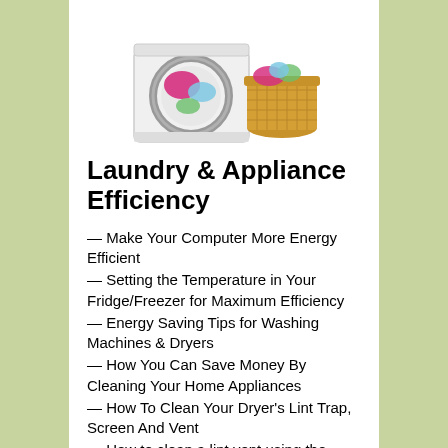[Figure (illustration): Illustration of a front-loading washing machine with the door open showing colorful laundry inside, and a wicker laundry basket beside it.]
Laundry & Appliance Efficiency
— Make Your Computer More Energy Efficient
— Setting the Temperature in Your Fridge/Freezer for Maximum Efficiency
— Energy Saving Tips for Washing Machines & Dryers
— How You Can Save Money By Cleaning Your Home Appliances
— How To Clean Your Dryer's Lint Trap, Screen And Vent
— How to clean a lint vent using the LintEater
Yard & Garage:
— How To Test And Maintain Your Car's